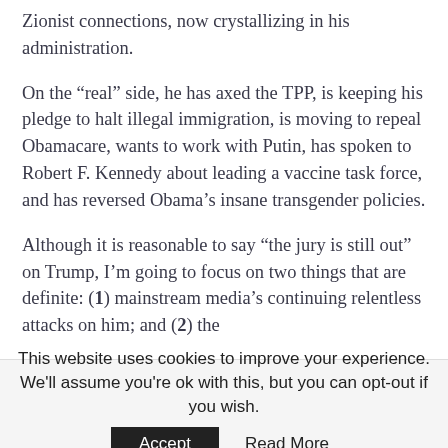Zionist connections, now crystallizing in his administration.
On the “real” side, he has axed the TPP, is keeping his pledge to halt illegal immigration, is moving to repeal Obamacare, wants to work with Putin, has spoken to Robert F. Kennedy about leading a vaccine task force, and has reversed Obama’s insane transgender policies.
Although it is reasonable to say “the jury is still out” on Trump, I’m going to focus on two things that are definite: (1) mainstream media’s continuing relentless attacks on him; and (2) the
This website uses cookies to improve your experience. We’ll assume you’re ok with this, but you can opt-out if you wish. Accept Read More